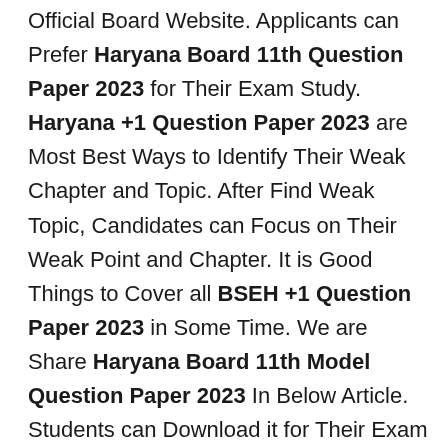Official Board Website. Applicants can Prefer Haryana Board 11th Question Paper 2023 for Their Exam Study. Haryana +1 Question Paper 2023 are Most Best Ways to Identify Their Weak Chapter and Topic. After Find Weak Topic, Candidates can Focus on Their Weak Point and Chapter. It is Good Things to Cover all BSEH +1 Question Paper 2023 in Some Time. We are Share Haryana Board 11th Model Question Paper 2023 In Below Article. Students can Download it for Their Exam Study.